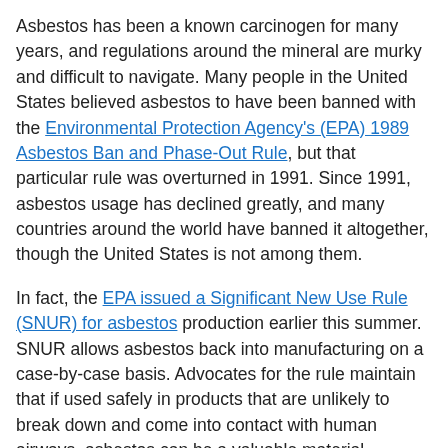Asbestos has been a known carcinogen for many years, and regulations around the mineral are murky and difficult to navigate. Many people in the United States believed asbestos to have been banned with the Environmental Protection Agency's (EPA) 1989 Asbestos Ban and Phase-Out Rule, but that particular rule was overturned in 1991. Since 1991, asbestos usage has declined greatly, and many countries around the world have banned it altogether, though the United States is not among them.
In fact, the EPA issued a Significant New Use Rule (SNUR) for asbestos production earlier this summer. SNUR allows asbestos back into manufacturing on a case-by-case basis. Advocates for the rule maintain that if used safely in products that are unlikely to break down and come into contact with human airways, asbestos can be a valuable material. Meanwhile, opponents firmly assert that there is no safe level of asbestos exposure or usage.
Before SNUR was issued, several consumer products were found to contain asbestos this year. This is not technically illegal, as U.S. rules currently allow asbestos in amounts of 1% or lower in products sold today. However, these instances are alarming from a consumer safety standpoint.